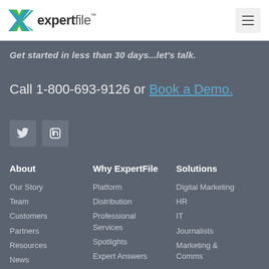expertfile™
Get started in less than 30 days...let's talk.
Call 1-800-693-9126 or Book a Demo.
[Figure (logo): Twitter and LinkedIn social media icons]
About
Our Story
Team
Customers
Partners
Resources
News
Why ExpertFile
Platform
Distribution
Professional Services
Spotlights
Expert Answers
Solutions
Digital Marketing
HR
IT
Journalists
Marketing & Comms